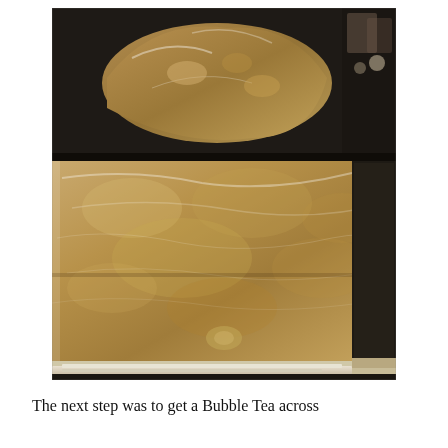[Figure (photo): Close-up photograph of large brown translucent blocks/slabs of what appears to be brown sugar or jaggery, wrapped in plastic film. One rounded triangular piece sits on top of a large rectangular block. The surface appears lumpy and crystalline, with a warm tan/amber-brown color. Display shelf visible at bottom right.]
The next step was to get a Bubble Tea across